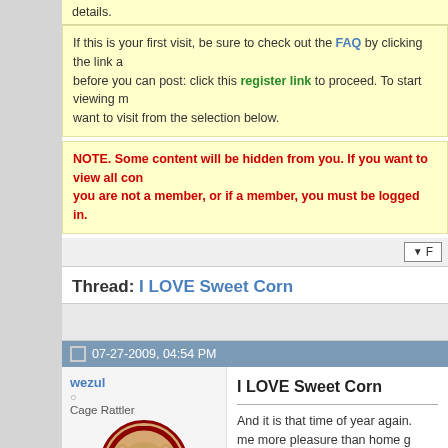details.
If this is your first visit, be sure to check out the FAQ by clicking the link a... before you can post: click this register link to proceed. To start viewing m... want to visit from the selection below.
NOTE. Some content will be hidden from you. If you want to view all con... you are not a member, or if a member, you must be logged in.
Thread: I LOVE Sweet Corn
07-27-2009, 04:54 PM
wezul
Cage Rattler
Join Date: Nov 2006
Location: Glen Ellyn, IL
Posts: 3,789
I LOVE Sweet Corn

And it is that time of year again. ... me more pleasure than home g... delightful combo on their own o... thing.

Wiltse Farm Produce & Greenh... of Kane County, IL just before y... east of County Line Rd on Rt. 3... They have a great selection of v...